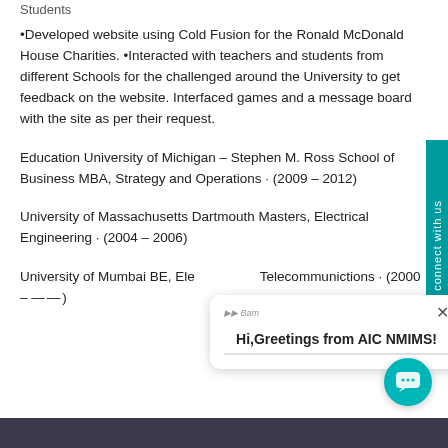Students
•Developed website using Cold Fusion for the Ronald McDonald House Charities. •Interacted with teachers and students from different Schools for the challenged around the University to get feedback on the website. Interfaced games and a message board with the site as per their request.
Education University of Michigan – Stephen M. Ross School of Business MBA, Strategy and Operations · (2009 – 2012)
University of Massachusetts Dartmouth Masters, Electrical Engineering · (2004 – 2006)
University of Mumbai BE, Electrical and Telecommunictions · (2000 – 2004)